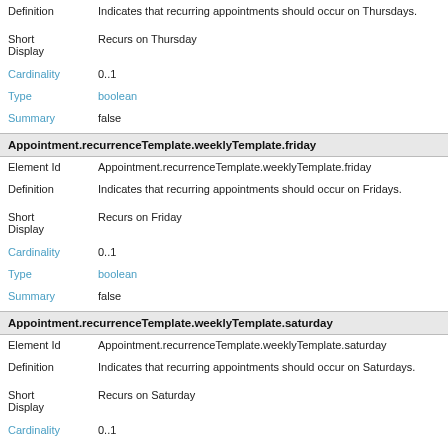Definition: Indicates that recurring appointments should occur on Thursdays.
Short Display: Recurs on Thursday
Cardinality: 0..1
Type: boolean
Summary: false
Appointment.recurrenceTemplate.weeklyTemplate.friday
Element Id: Appointment.recurrenceTemplate.weeklyTemplate.friday
Definition: Indicates that recurring appointments should occur on Fridays.
Short Display: Recurs on Friday
Cardinality: 0..1
Type: boolean
Summary: false
Appointment.recurrenceTemplate.weeklyTemplate.saturday
Element Id: Appointment.recurrenceTemplate.weeklyTemplate.saturday
Definition: Indicates that recurring appointments should occur on Saturdays.
Short Display: Recurs on Saturday
Cardinality: 0..1
Type: boolean
Summary: false